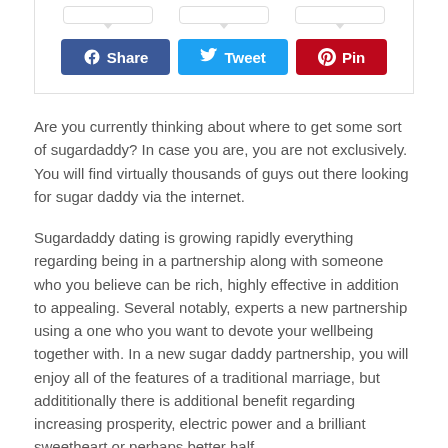[Figure (screenshot): Social share buttons for Facebook (Share), Twitter (Tweet), and Pinterest (Pin) inside a card with speech bubble indicators above each button]
Are you currently thinking about where to get some sort of sugardaddy? In case you are, you are not exclusively. You will find virtually thousands of guys out there looking for sugar daddy via the internet.
Sugardaddy dating is growing rapidly everything regarding being in a partnership along with someone who you believe can be rich, highly effective in addition to appealing. Several notably, experts a new partnership using a one who you want to devote your wellbeing together with. In a new sugar daddy partnership, you will enjoy all of the features of a traditional marriage, but addititionally there is additional benefit regarding increasing prosperity, electric power and a brilliant sweetheart or perhaps better half.
You can find sugar daddy internet by simply registering for several absolutely free seeing web sites who have users. These internet websites will help you have a sugardaddy analyze before you are allowed to go with this website. Through this particular